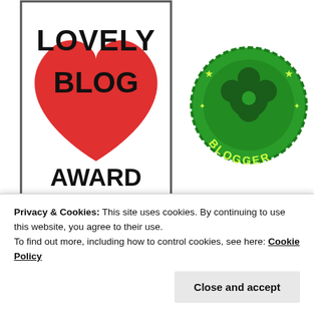[Figure (illustration): Lovely Blog Award badge - white rectangle with black border showing text LOVELY BLOG AWARD with a red heart graphic]
[Figure (illustration): Veg Blogger circular green badge with dark green clover/flower design in center and text BLOGGER around the edge]
[Figure (illustration): Liebster Award pink scalloped circular badge with text LIEBSTER across the top arc, rays/sunburst lines, an arrow through, and a dark red heart in the center]
Privacy & Cookies: This site uses cookies. By continuing to use this website, you agree to their use. To find out more, including how to control cookies, see here: Cookie Policy